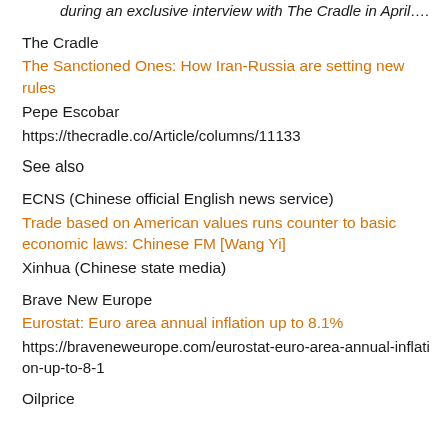during an exclusive interview with The Cradle in April….
The Cradle
The Sanctioned Ones: How Iran-Russia are setting new rules
Pepe Escobar
https://thecradle.co/Article/columns/11133
See also
ECNS (Chinese official English news service)
Trade based on American values runs counter to basic economic laws: Chinese FM [Wang Yi]
Xinhua (Chinese state media)
Brave New Europe
Eurostat: Euro area annual inflation up to 8.1%
https://braveneweurope.com/eurostat-euro-area-annual-inflation-up-to-8-1
Oilprice